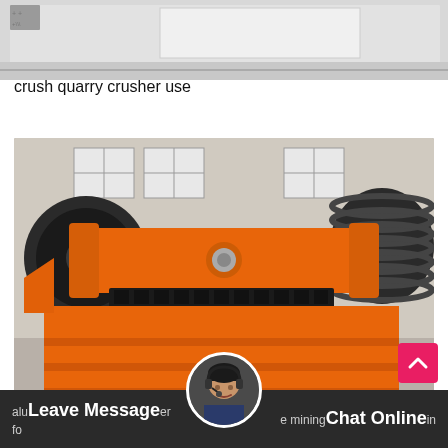[Figure (photo): Top portion of a partially visible image showing industrial machinery or equipment in grey tones, partially cropped at the top of the page]
crush quarry crusher use
[Figure (photo): An orange jaw crusher machine with large black flywheels on both sides, mounted on an orange steel frame base with horizontal supports. The machine is photographed outdoors on a concrete surface.]
[Figure (photo): Avatar photo of a female customer service representative wearing a headset, shown in a circular frame at the bottom center of the page]
alu Leave Message er fo e mining Chat Online in